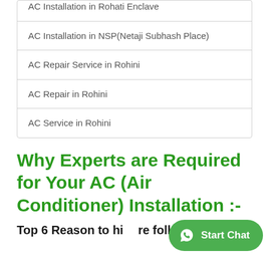AC Installation in Rohati Enclave
AC Installation in NSP(Netaji Subhash Place)
AC Repair Service in Rohini
AC Repair in Rohini
AC Service in Rohini
Why Experts are Required for Your AC (Air Conditioner) Installation :-
Top 6 Reason to hi…re following : -